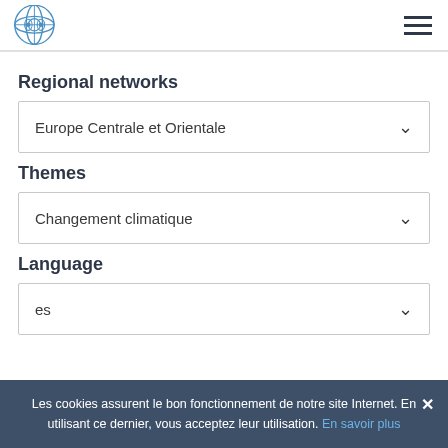Logo and navigation menu
Regional networks
Europe Centrale et Orientale
Themes
Changement climatique
Language
es
Les cookies assurent le bon fonctionnement de notre site Internet. En utilisant ce dernier, vous acceptez leur utilisation. En savoir plus